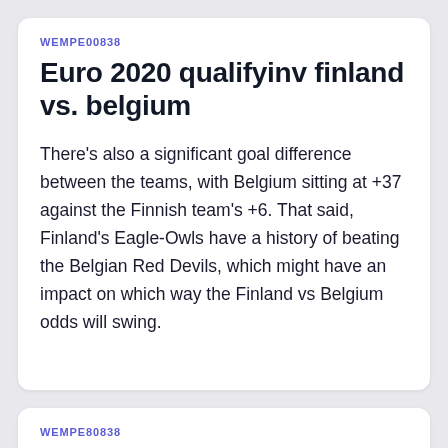WEMPE00838
Euro 2020 qualifyinv finland vs. belgium
There's also a significant goal difference between the teams, with Belgium sitting at +37 against the Finnish team's +6. That said, Finland's Eagle-Owls have a history of beating the Belgian Red Devils, which might have an impact on which way the Finland vs Belgium odds will swing.
WEMPE80838
Euro 2020 predictor ukraine vs. north macedonia